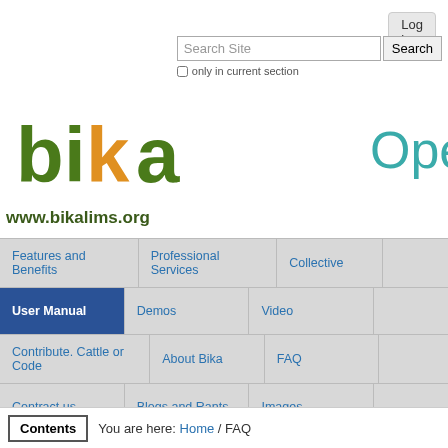Log in
Search Site | Search | only in current section
[Figure (logo): Bika LIMS logo with stylized green and orange letters spelling 'bika' and URL www.bikalims.org below]
[Figure (illustration): Partial text 'Oper' in teal cursive font, remainder cut off by page edge]
| Features and Benefits | Professional Services | Collective |  |
| --- | --- | --- | --- |
| User Manual | Demos | Video |  |
| Contribute. Cattle or Code | About Bika | FAQ |  |
| Contract us | Blogs and Rants | Images |  |
Contents   You are here: Home / FAQ